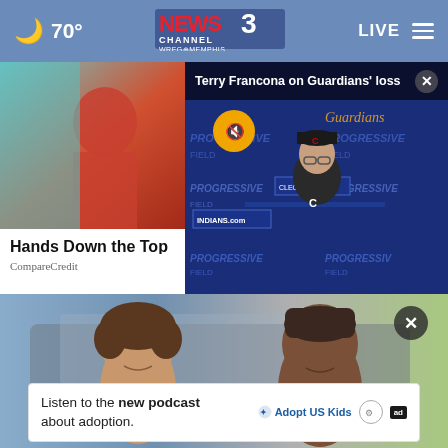70° | NEWS CHANNEL 3 WREG MEMPHIS | LIVE
[Figure (screenshot): News website screenshot showing navigation bar with moon/temperature icon (70°), News Channel 3 WREG Memphis logo, LIVE text and hamburger menu]
[Figure (screenshot): Advertisement card showing partial image of person in red top (CompareCredit ad): 'Hands Down the Top']
Hands Down the Top
CompareCredit
[Figure (screenshot): Video overlay: Terry Francona at Progressive Field press conference, muted, with title bar 'Terry Francona on Guardians' loss' and close button]
Terry Francona on Guardians' loss
[Figure (photo): Two women photographed outdoors near a vehicle, bottom section of page]
Listen to the new podcast about adoption.